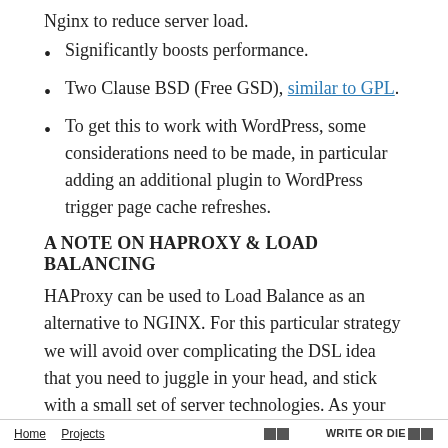Nginx to reduce server load.
Significantly boosts performance.
Two Clause BSD (Free GSD), similar to GPL.
To get this to work with WordPress, some considerations need to be made, in particular adding an additional plugin to WordPress trigger page cache refreshes.
A NOTE ON HAPROXY & LOAD BALANCING
HAProxy can be used to Load Balance as an alternative to NGINX. For this particular strategy we will avoid over complicating the DSL idea that you need to juggle in your head, and stick with a small set of server technologies. As your project
Home  Projects                                         ⊠⊠WRITE OR DIE⊠⊠